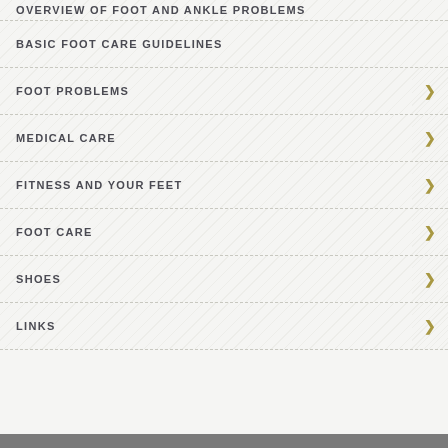OVERVIEW OF FOOT AND ANKLE PROBLEMS
BASIC FOOT CARE GUIDELINES
FOOT PROBLEMS
MEDICAL CARE
FITNESS AND YOUR FEET
FOOT CARE
SHOES
LINKS